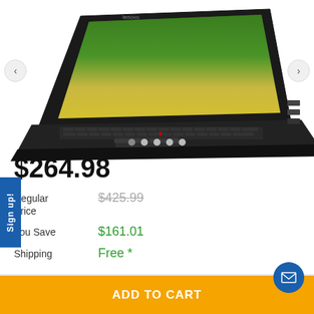[Figure (photo): Lenovo ThinkPad laptop computer shown open at an angle, displaying a yellow flower field on screen, black keyboard and chassis, with navigation arrows on left and right sides and five dot indicators below]
$264.98
| Label | Value |
| --- | --- |
| Regular Price | $425.99 |
| You Save | $161.01 |
| Shipping | Free * |
ADD TO CART
Sign up!